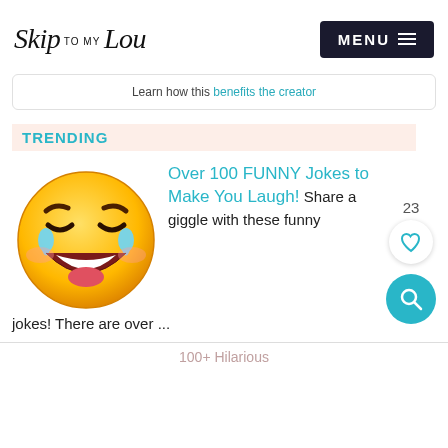Skip to my Lou | MENU
Learn how this benefits the creator
TRENDING
[Figure (illustration): Laughing crying emoji - yellow round face with tears of joy, wide open mouth with teeth]
Over 100 FUNNY Jokes to Make You Laugh! Share a giggle with these funny jokes! There are over ...
100+ Hilarious